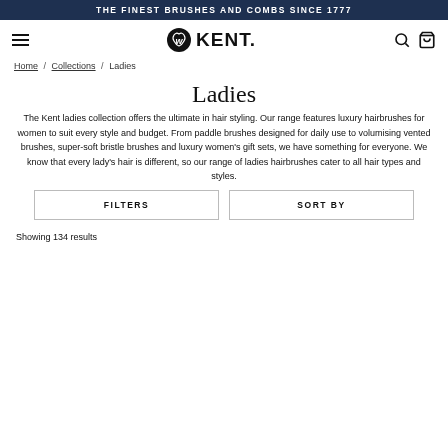THE FINEST BRUSHES AND COMBS SINCE 1777
[Figure (logo): Kent Brushes logo with circular monogram and KENT. wordmark]
Home / Collections / Ladies
Ladies
The Kent ladies collection offers the ultimate in hair styling. Our range features luxury hairbrushes for women to suit every style and budget. From paddle brushes designed for daily use to volumising vented brushes, super-soft bristle brushes and luxury women's gift sets, we have something for everyone. We know that every lady's hair is different, so our range of ladies hairbrushes cater to all hair types and styles.
FILTERS
SORT BY
Showing 134 results